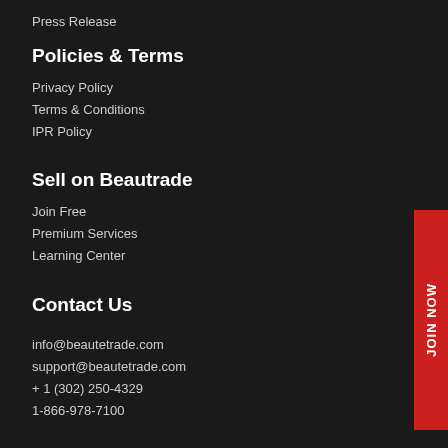Press Release
Policies & Terms
Privacy Policy
Terms & Conditions
IPR Policy
Sell on Beautrade
Join Free
Premium Services
Learning Center
[Figure (other): Red vertical JOIN NOW button on the right side]
Contact Us
info@beautetrade.com
support@beautetrade.com
+ 1 (302) 250-4329
1-866-978-7100